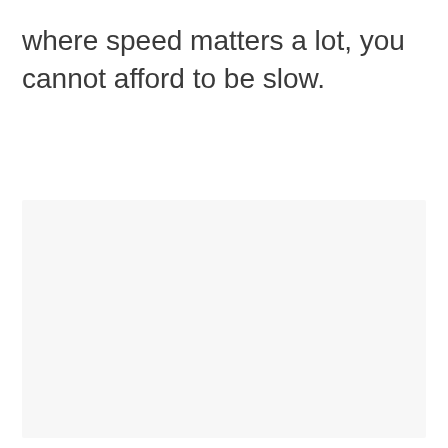where speed matters a lot, you cannot afford to be slow.
[Figure (other): A large light gray rectangular placeholder box occupying the lower portion of the page.]